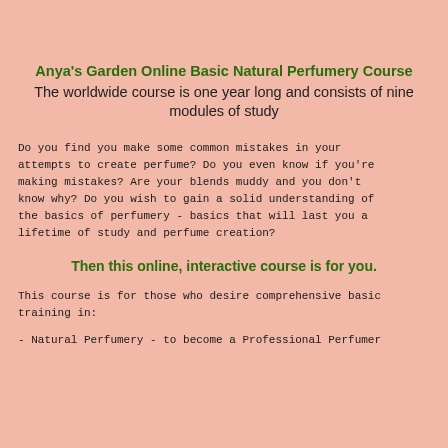Anya's Garden Online Basic Natural Perfumery Course
The worldwide course is one year long and consists of nine modules of study
Do you find you make some common mistakes in your attempts to create perfume? Do you even know if you're making mistakes? Are your blends muddy and you don't know why? Do you wish to gain a solid understanding of the basics of perfumery - basics that will last you a lifetime of study and perfume creation?
Then this online, interactive course is for you.
This course is for those who desire comprehensive basic training in:
- Natural Perfumery - to become a Professional Perfumer